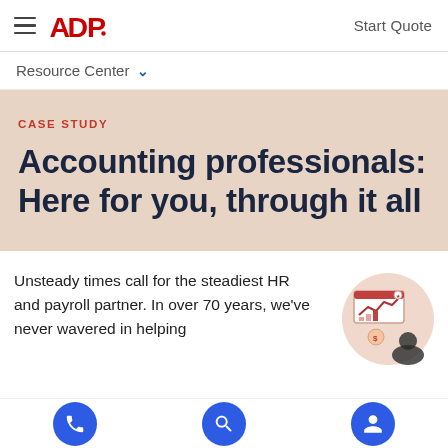ADP — Start Quote
Resource Center
CASE STUDY
Accounting professionals: Here for you, through it all
Unsteady times call for the steadiest HR and payroll partner. In over 70 years, we've never wavered in helping
[Figure (illustration): Circular illustration showing a person analyzing charts and graphs on a dashboard, with a line chart and bar chart visible, on a beige/cream circular background]